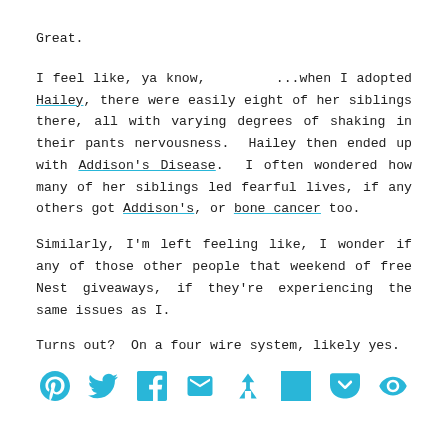Great.
I feel like, ya know,        ...when I adopted Hailey, there were easily eight of her siblings there, all with varying degrees of shaking in their pants nervousness.  Hailey then ended up with Addison's Disease.  I often wondered how many of her siblings led fearful lives, if any others got Addison's, or bone cancer too.
Similarly, I'm left feeling like, I wonder if any of those other people that weekend of free Nest giveaways, if they're experiencing the same issues as I.
Turns out?  On a four wire system, likely yes.
[Figure (infographic): Row of social media sharing icons in cyan/teal color: Pinterest, Twitter, Facebook, Email, Kickstarter/share, Flipboard, Pocket, and another sharing icon]